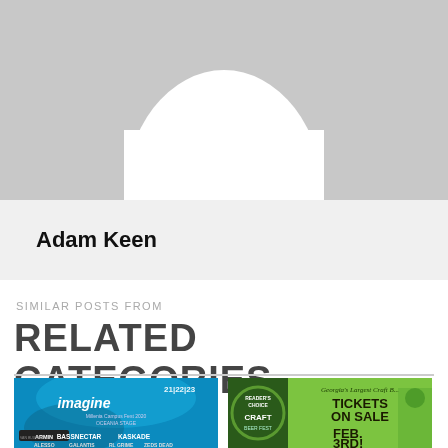[Figure (photo): Generic user avatar placeholder — grey background with white silhouette shape (head and shoulders arc)]
Adam Keen
SIMILAR POSTS FROM
RELATED CATEGORIES
[Figure (photo): Imagine Music & Camping Festival 2020 promotional poster featuring Armin Van Buuren, Bassnectar, Kaskade, Alesso, Galantis, IRL Grime, Zeds Dead on a teal/blue background with festival art]
[Figure (photo): Georgia's Largest Craft Beer Fest promotional image on green background, Tickets On Sale Feb 3rd, Reader's Choice award badge, person in green hat]